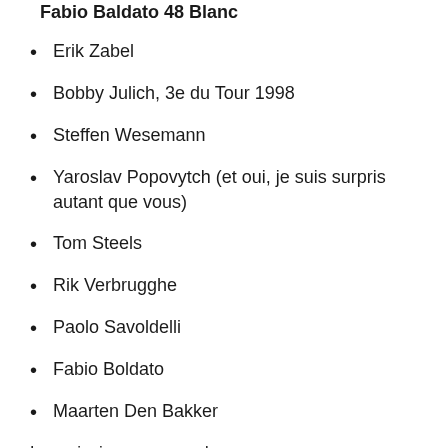Erik Zabel
Bobby Julich, 3e du Tour 1998
Steffen Wesemann
Yaroslav Popovytch (et oui, je suis surpris autant que vous)
Tom Steels
Rik Verbrugghe
Paolo Savoldelli
Fabio Boldato
Maarten Den Bakker
Les principaux suspendus